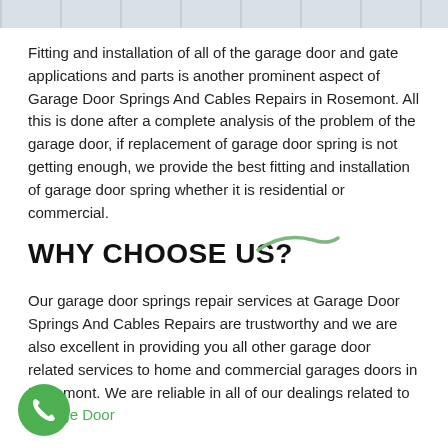[Figure (photo): Partial view of a garage door or gate, gray/blue tones, cropped at top of page]
Fitting and installation of all of the garage door and gate applications and parts is another prominent aspect of Garage Door Springs And Cables Repairs in Rosemont. All this is done after a complete analysis of the problem of the garage door, if replacement of garage door spring is not getting enough, we provide the best fitting and installation of garage door spring whether it is residential or commercial.
WHY CHOOSE US?
Our garage door springs repair services at Garage Door Springs And Cables Repairs are trustworthy and we are also excellent in providing you all other garage door related services to home and commercial garages doors in Rosemont. We are reliable in all of our dealings related to Garage Door